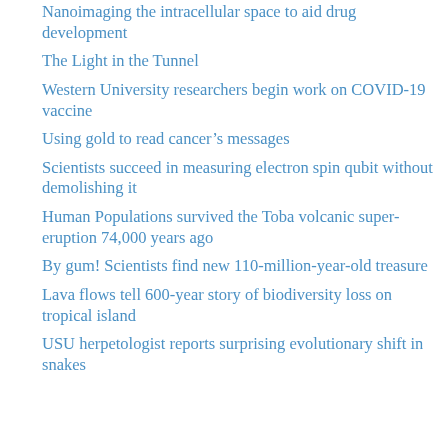Nanoimaging the intracellular space to aid drug development
The Light in the Tunnel
Western University researchers begin work on COVID-19 vaccine
Using gold to read cancer’s messages
Scientists succeed in measuring electron spin qubit without demolishing it
Human Populations survived the Toba volcanic super-eruption 74,000 years ago
By gum! Scientists find new 110-million-year-old treasure
Lava flows tell 600-year story of biodiversity loss on tropical island
USU herpetologist reports surprising evolutionary shift in snakes